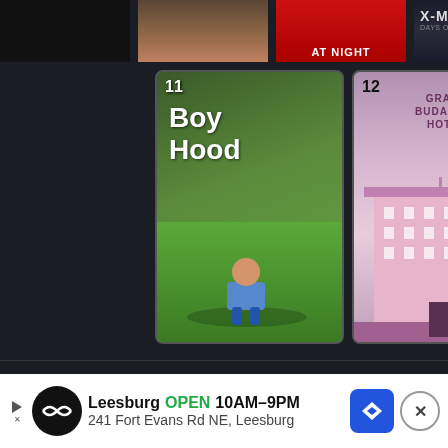[Figure (screenshot): Movie browsing app screenshot showing numbered movie poster thumbnails. Top row shows partial posters. Second row shows: 11 Boyhood, 12 The Grand Budapest Hotel, 13 Chef, plus two empty card slots. Below is a 'Genres, countries & languages' section with Drama, Comedy, Action listed. An advertisement banner for Leesburg store appears at the bottom.]
Genres, countries & languages
Drama
Comedy
Action